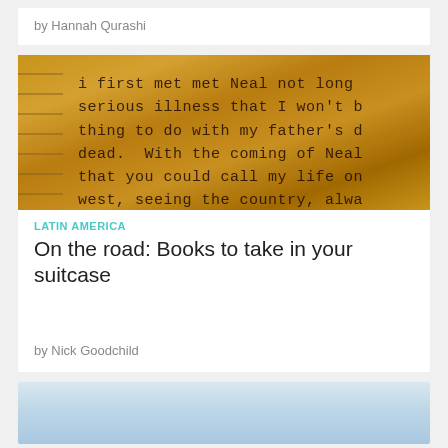by Hannah Qurashi
[Figure (photo): Close-up of old typewritten text on aged paper, partially showing text about Neal and a road trip narrative]
LATIN AMERICA
On the road: Books to take in your suitcase
by Nick Goodchild
[Figure (photo): Light gray sky or overcast landscape photo, partially visible at bottom of page]